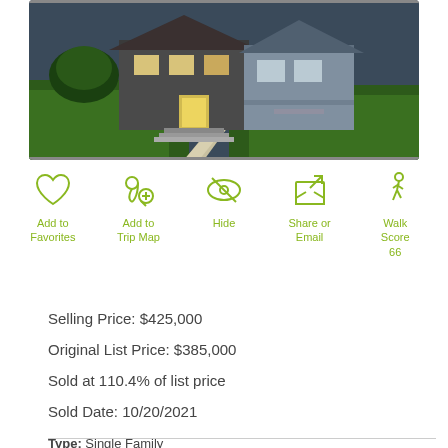[Figure (photo): Exterior photo of a single-family home at dusk with green lawn and lit front entrance]
Add to Favorites
Add to Trip Map
Hide
Share or Email
Walk Score 66
Selling Price: $425,000
Original List Price: $385,000
Sold at 110.4% of list price
Sold Date: 10/20/2021
Type: Single Family
Style: 2 Story